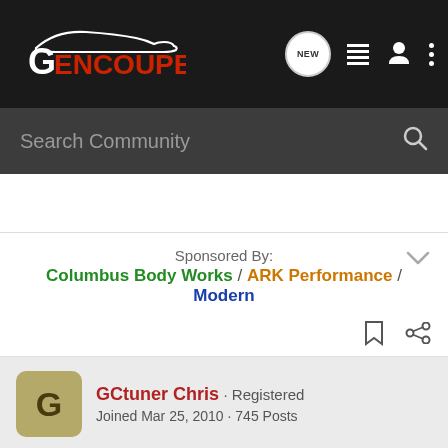[Figure (logo): GenCoupe logo - white car silhouette and stylized G with red text ENCOUPE on dark background]
Search Community
Sponsored By:
Columbus Body Works / ARK Performance / Modern
GCtuner Chris · Registered
Joined Mar 25, 2010 · 745 Posts
Discussion Starter · #3 · Feb 3, 2011
Since I posted this, I ate lunch, and successfully cut open another tail light perfectly. Its basically something you have to either do all the time, or know EXACTLY where to cut, and